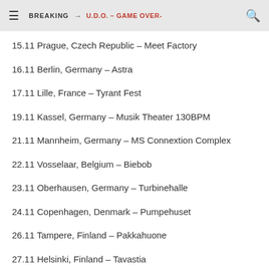BREAKING → U.D.O. – GAME OVER-
15.11 Prague, Czech Republic – Meet Factory
16.11 Berlin, Germany – Astra
17.11 Lille, France – Tyrant Fest
19.11 Kassel, Germany – Musik Theater 130BPM
21.11 Mannheim, Germany – MS Connextion Complex
22.11 Vosselaar, Belgium – Biebob
23.11 Oberhausen, Germany – Turbinehalle
24.11 Copenhagen, Denmark – Pumpehuset
26.11 Tampere, Finland – Pakkahuone
27.11 Helsinki, Finland – Tavastia
29.11 Stockholm, Sweden – Fryshuset Klubben
30.11 Gothenburg, Sweden – Pustervik